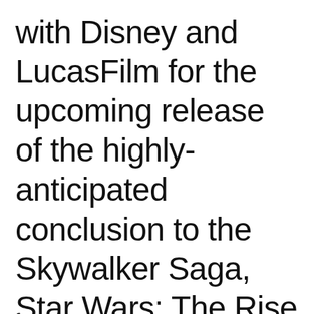with Disney and LucasFilm for the upcoming release of the highly-anticipated conclusion to the Skywalker Saga, Star Wars: The Rise of Skywalker. Passengers will begin flying to